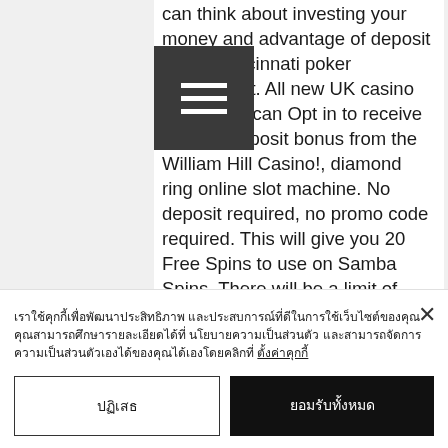can think about investing your money and advantage of deposit bonus, cincinnati poker tournament. All new UK casino customers can Opt in to receive a 10 no deposit bonus from the William Hill Casino!, diamond ring online slot machine. No deposit required, no promo code required. This will give you 20 Free Spins to use on Samba Spins. There will be a limit of $100 that you can cash out, cincinnati casino poker tournament.
What kind of slot machine is scarab, online game earn bitcoin
เราใช้คุกกี้เพื่อพัฒนาประสิทธิภาพ และประสบการณ์ที่ดีในการใช้เว็บไซต์ของคุณ คุณสามารถศึกษารายละเอียดได้ที่ นโยบายความเป็นส่วนตัว และสามารถจัดการความเป็นส่วนตัวเองได้ของคุณได้เองโดยคลิกที่ ตั้งค่า